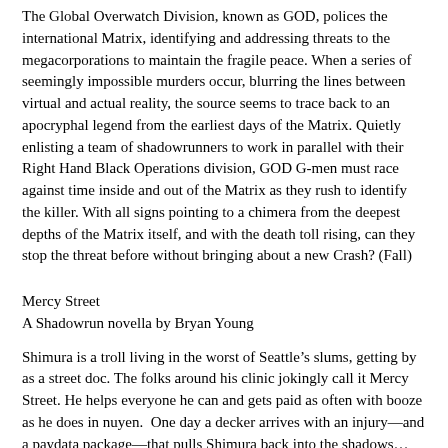The Global Overwatch Division, known as GOD, polices the international Matrix, identifying and addressing threats to the megacorporations to maintain the fragile peace. When a series of seemingly impossible murders occur, blurring the lines between virtual and actual reality, the source seems to trace back to an apocryphal legend from the earliest days of the Matrix. Quietly enlisting a team of shadowrunners to work in parallel with their Right Hand Black Operations division, GOD G-men must race against time inside and out of the Matrix as they rush to identify the killer. With all signs pointing to a chimera from the deepest depths of the Matrix itself, and with the death toll rising, can they stop the threat before without bringing about a new Crash? (Fall)
Mercy Street
A Shadowrun novella by Bryan Young
Shimura is a troll living in the worst of Seattle’s slums, getting by as a street doc. The folks around his clinic jokingly call it Mercy Street. He helps everyone he can and gets paid as often with booze as he does in nuyen.  One day a decker arrives with an injury—and a paydata package—that pulls Shimura back into the shadows… and the megacorps cast very long, very deep shadows indeed… (Fall)